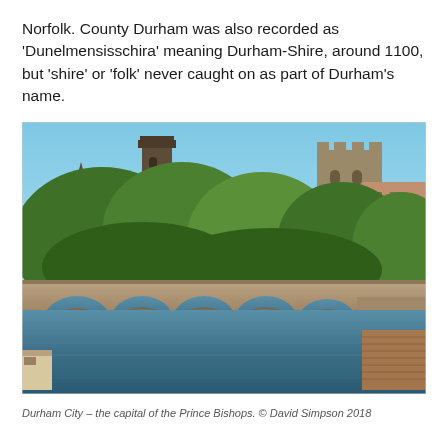Norfolk. County Durham was also recorded as 'Dunelmensisschira' meaning Durham-Shire, around 1100, but 'shire' or 'folk' never caught on as part of Durham's name.
[Figure (photo): Aerial view of Durham City showing the stone bridge with multiple arches over a river, with Durham Cathedral tower and Durham Castle visible above dense tree canopy, and brick buildings to the right. Boats/punts are moored along the right bank.]
Durham City – the capital of the Prince Bishops. © David Simpson 2018